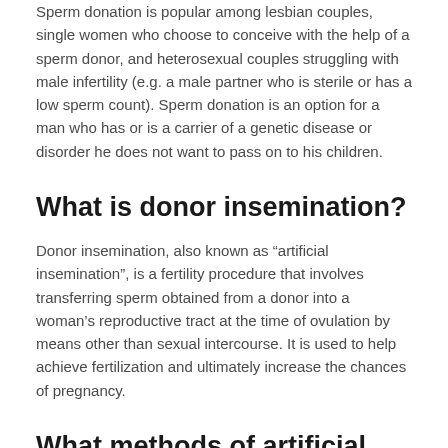Sperm donation is popular among lesbian couples, single women who choose to conceive with the help of a sperm donor, and heterosexual couples struggling with male infertility (e.g. a male partner who is sterile or has a low sperm count). Sperm donation is an option for a man who has or is a carrier of a genetic disease or disorder he does not want to pass on to his children.
What is donor insemination?
Donor insemination, also known as “artificial insemination”, is a fertility procedure that involves transferring sperm obtained from a donor into a woman’s reproductive tract at the time of ovulation by means other than sexual intercourse. It is used to help achieve fertilization and ultimately increase the chances of pregnancy.
What methods of artificial insemination